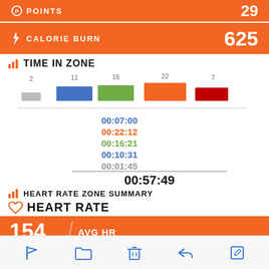[Figure (infographic): Orange banner showing POINTS with value 29]
[Figure (infographic): Orange banner showing CALORIE BURN with value 625]
TIME IN ZONE
[Figure (bar-chart): Time in Zone]
00:07:00
00:22:12
00:16:21
00:10:31
00:01:45
00:57:49
HEART RATE ZONE SUMMARY
HEART RATE
[Figure (infographic): Orange banner showing AVG HR with value 154]
[Figure (infographic): Orange banner showing MAX HR with value 188]
Toolbar with flag, folder, trash, reply, edit icons